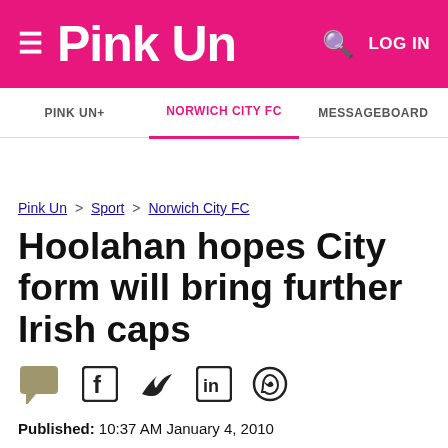Pink Un
PINK UN+  NORWICH CITY FC  MESSAGEBOARD
Pink Un > Sport > Norwich City FC
Hoolahan hopes City form will bring further Irish caps
[Figure (infographic): Social sharing icons: comment, Facebook, Twitter, LinkedIn, WhatsApp]
Published: 10:37 AM January 4, 2010
Updated: 10:54 PM October 10, 2020